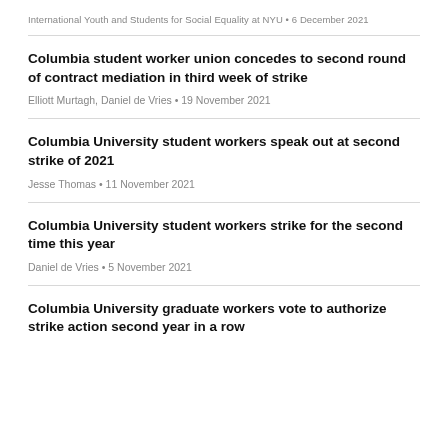International Youth and Students for Social Equality at NYU • 6 December 2021
Columbia student worker union concedes to second round of contract mediation in third week of strike
Elliott Murtagh, Daniel de Vries • 19 November 2021
Columbia University student workers speak out at second strike of 2021
Jesse Thomas • 11 November 2021
Columbia University student workers strike for the second time this year
Daniel de Vries • 5 November 2021
Columbia University graduate workers vote to authorize strike action second year in a row